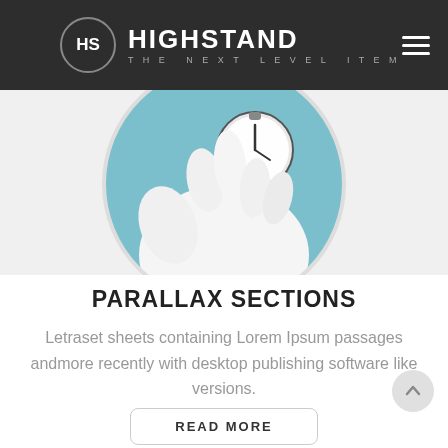HS HIGHSTAND THE NEXT LEVEL ITEM
[Figure (illustration): Circular illustration showing a white gloved hand holding an analog clock against a teal/light blue circular background, partially cropped at top.]
PARALLAX SECTIONS
Letraset sheets containing Lorem Ipsum passages andmore recently with desktop publishing software like versions.
READ MORE